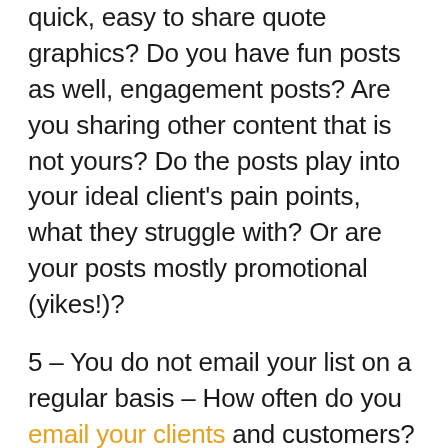quick, easy to share quote graphics? Do you have fun posts as well, engagement posts? Are you sharing other content that is not yours? Do the posts play into your ideal client's pain points, what they struggle with? Or are your posts mostly promotional (yikes!)?
5 – You do not email your list on a regular basis – How often do you email your clients and customers? Do you nurture them and keep your business top of mind? Do you share useful information that solves a problem for them and keeps them engaged? Do